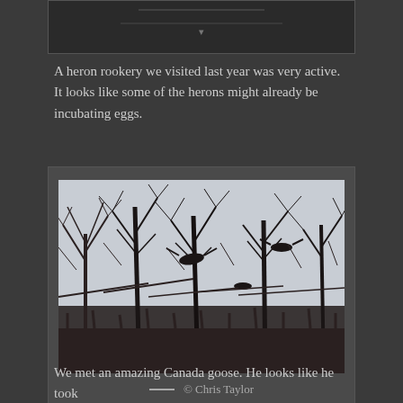[Figure (photo): Partial view of a photo at top of page, cut off, dark background]
A heron rookery we visited last year was very active. It looks like some of the herons might already be incubating eggs.
[Figure (photo): Photograph of herons in bare winter trees with a pale grey sky. Several large birds are visible perched and flying among the leafless branches. Photo credit: © Chris Taylor]
— © Chris Taylor
We met an amazing Canada goose. He looks like he took